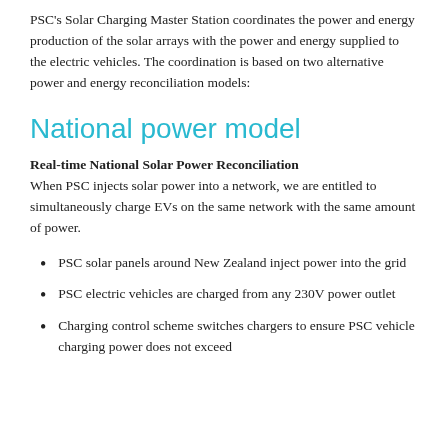PSC's Solar Charging Master Station coordinates the power and energy production of the solar arrays with the power and energy supplied to the electric vehicles. The coordination is based on two alternative power and energy reconciliation models:
National power model
Real-time National Solar Power Reconciliation When PSC injects solar power into a network, we are entitled to simultaneously charge EVs on the same network with the same amount of power.
PSC solar panels around New Zealand inject power into the grid
PSC electric vehicles are charged from any 230V power outlet
Charging control scheme switches chargers to ensure PSC vehicle charging power does not exceed